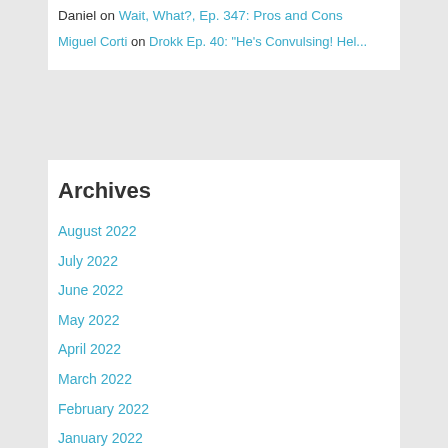Daniel on Wait, What?, Ep. 347: Pros and Cons
Miguel Corti on Drokk Ep. 40: "He's Convulsing! Hel...
Archives
August 2022
July 2022
June 2022
May 2022
April 2022
March 2022
February 2022
January 2022
December 2021